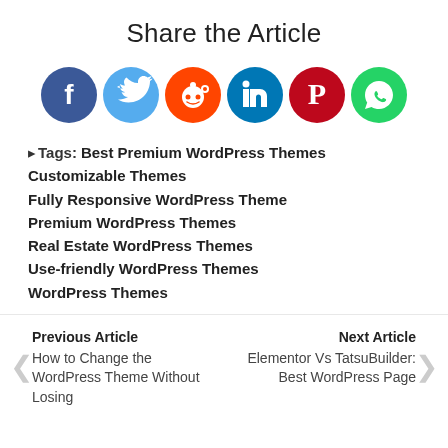Share the Article
[Figure (infographic): Row of six social media share buttons: Facebook (dark blue), Twitter (light blue), Reddit (orange), LinkedIn (teal), Pinterest (dark red), WhatsApp (green)]
Tags:  Best Premium WordPress Themes
Customizable Themes
Fully Responsive WordPress Theme
Premium WordPress Themes
Real Estate WordPress Themes
Use-friendly WordPress Themes
WordPress Themes
Previous Article
How to Change the WordPress Theme Without Losing
Next Article
Elementor Vs TatsuBuilder: Best WordPress Page